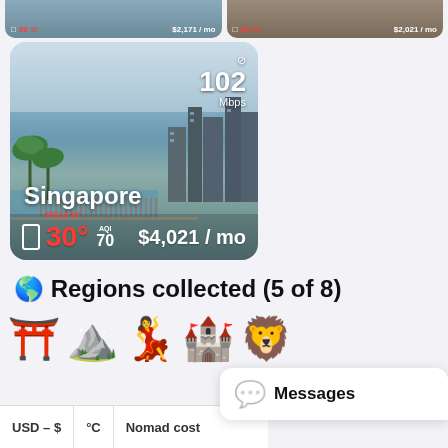[Figure (photo): Two city destination cards at top (partially visible), showing red temperature, speed, and monthly cost overlays on travel photos]
[Figure (photo): Singapore city card with waterfront photo, showing 102 Mbps wifi, 30° temperature, AQI 70, $4,021/mo cost]
Singapore
102 Mbps
30°
AQI 70
$4,021 / mo
🌍 Regions collected (5 of 8)
[Figure (illustration): Row of five emoji icons: red torii gate, mountain, woman dancing in red dress, castle, lion face]
USD – $   °C   Nomad cost
Messages